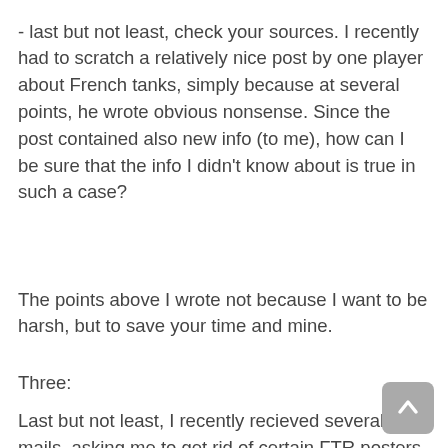- last but not least, check your sources. I recently had to scratch a relatively nice post by one player about French tanks, simply because at several points, he wrote obvious nonsense. Since the post contained also new info (to me), how can I be sure that the info I didn't know about is true in such a case?
The points above I wrote not because I want to be harsh, but to save your time and mine.
Three:
Last but not least, I recently recieved several e-mails, asking me to get rid of certain FTR posters (hi, Medjed) just because they are rude and abrasive. To be